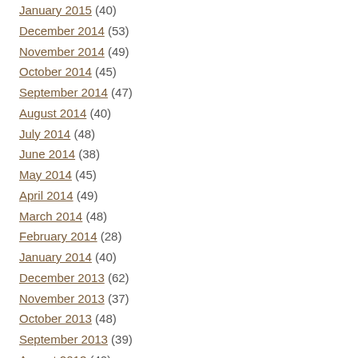January 2015 (40)
December 2014 (53)
November 2014 (49)
October 2014 (45)
September 2014 (47)
August 2014 (40)
July 2014 (48)
June 2014 (38)
May 2014 (45)
April 2014 (49)
March 2014 (48)
February 2014 (28)
January 2014 (40)
December 2013 (62)
November 2013 (37)
October 2013 (48)
September 2013 (39)
August 2013 (40)
July 2013 (21)